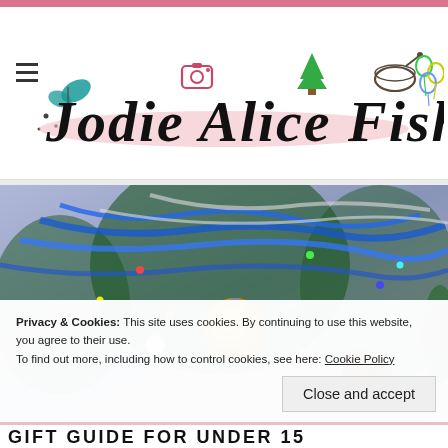[Figure (logo): Jodie Alice Fisher blog header with decorative icons (hamburger menu, butterfly, camera, tree, bowl/mortar, balloons) and cursive-style blog name text on pink brush stroke background]
[Figure (photo): Close-up of a decorated Christmas tree with blue tinsel, gold ornament ball, pine cones, and colorful lights]
Privacy & Cookies: This site uses cookies. By continuing to use this website, you agree to their use.
To find out more, including how to control cookies, see here: Cookie Policy
Close and accept
GIFT GUIDE FOR UNDER 15